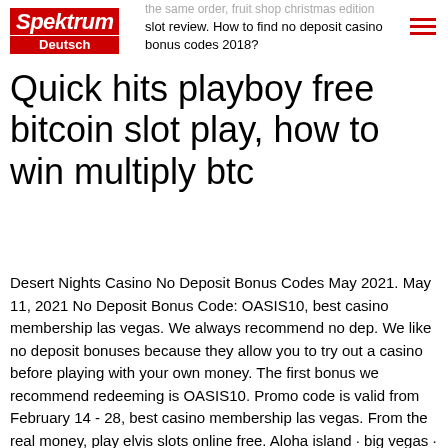the same order, fruit shop christmas edition slot review. How to find no deposit casino bonus codes 2018?
Quick hits playboy free bitcoin slot play, how to win multiply btc
Desert Nights Casino No Deposit Bonus Codes May 2021. May 11, 2021 No Deposit Bonus Code: OASIS10, best casino membership las vegas. We always recommend no dep. We like no deposit bonuses because they allow you to try out a casino before playing with your own money. The first bonus we recommend redeeming is OASIS10. Promo code is valid from February 14 - 28, best casino membership las vegas. From the real money, play elvis slots online free. Aloha island · big vegas · cash spin · double dragon · hot shot blazing 7's · money vault · playboy · quickhit. Play